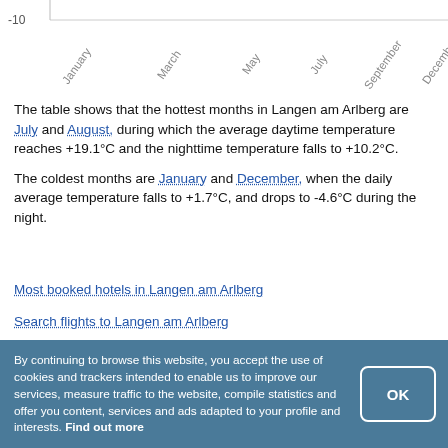[Figure (continuous-plot): Bottom portion of a temperature chart for Langen am Arlberg showing x-axis month labels (January, March, May, July, September, December) and a y-axis label of -10. The chart lines are cut off at the top.]
The table shows that the hottest months in Langen am Arlberg are July and August, during which the average daytime temperature reaches +19.1°C and the nighttime temperature falls to +10.2°C.
The coldest months are January and December, when the daily average temperature falls to +1.7°C, and drops to -4.6°C during the night.
Most booked hotels in Langen am Arlberg
Search flights to Langen am Arlberg
By continuing to browse this website, you accept the use of cookies and trackers intended to enable us to improve our services, measure traffic to the website, compile statistics and offer you content, services and ads adapted to your profile and interests. Find out more